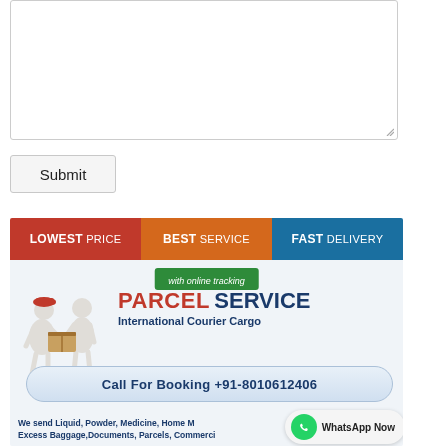[Figure (screenshot): Empty textarea input box with resize handle at bottom-right corner]
Submit
[Figure (infographic): Parcel service advertisement banner. Top bar with three sections: LOWEST PRICE (red), BEST SERVICE (orange), FAST DELIVERY (blue). Green sub-bar: 'with online tracking'. White figure carrying parcel. Text: PARCEL SERVICE International Courier Cargo. Call For Booking +91-8010612406. We send Liquid, Powder, Medicine, Home Movers, Excess Baggage, Documents, Parcels, Commercial Shipments. WhatsApp Now overlay.]